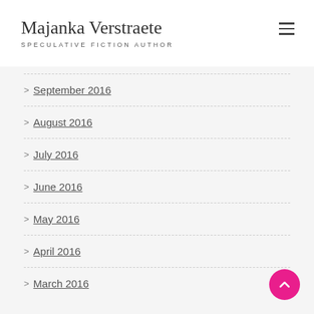Majanka Verstraete — SPECULATIVE FICTION AUTHOR
> September 2016
> August 2016
> July 2016
> June 2016
> May 2016
> April 2016
> March 2016